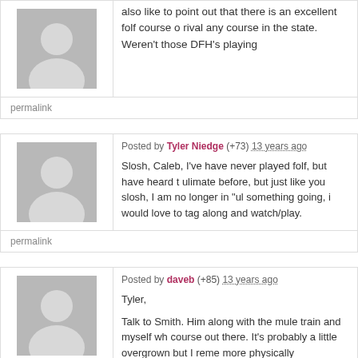also like to point out that there is an excellent folf course o rival any course in the state. Weren't those DFH's playing
permalink
Posted by Tyler Niedge (+73) 13 years ago
Slosh, Caleb, I've have never played folf, but have heard t ulimate before, but just like you slosh, I am no longer in "ul something going, i would love to tag along and watch/play.
permalink
Posted by daveb (+85) 13 years ago
Tyler,
Talk to Smith. Him along with the mule train and myself wh course out there. It's probably a little overgrown but I reme more physically challenging than most courses in the state